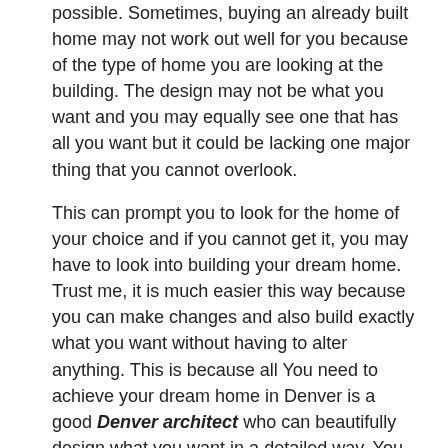possible. Sometimes, buying an already built home may not work out well for you because of the type of home you are looking at the building. The design may not be what you want and you may equally see one that has all you want but it could be lacking one major thing that you cannot overlook.
This can prompt you to look for the home of your choice and if you cannot get it, you may have to look into building your dream home. Trust me, it is much easier this way because you can make changes and also build exactly what you want without having to alter anything. This is because all You need to achieve your dream home in Denver is a good Denver architect who can beautifully design what you want in a detailed way. You cannot proceed with the building of your dream home if the architectural design has not been done. This is because it is the design that will be worked with and it is designed that will determine if you will be willing to go along with the building. The architectural design is your insight into what to expect and